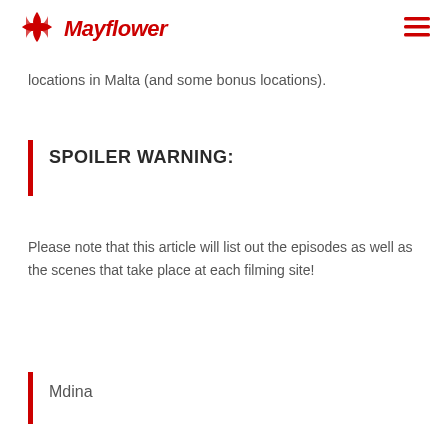Mayflower
locations in Malta (and some bonus locations).
SPOILER WARNING:
Please note that this article will list out the episodes as well as the scenes that take place at each filming site!
Mdina